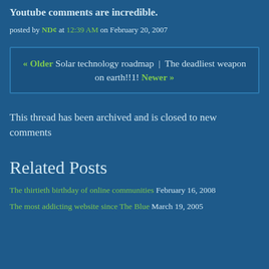Youtube comments are incredible.
posted by ND¢ at 12:39 AM on February 20, 2007
« Older Solar technology roadmap | The deadliest weapon on earth!!1! Newer »
This thread has been archived and is closed to new comments
Related Posts
The thirtieth birthday of online communities February 16, 2008
The most addicting website since The Blue March 19, 2005